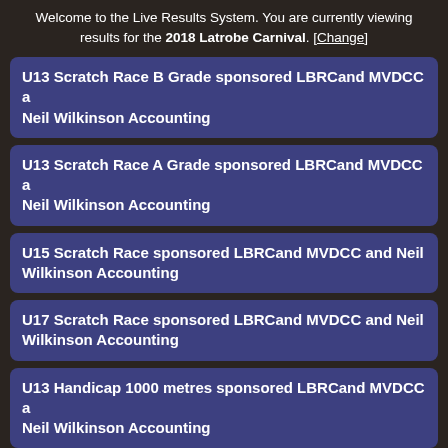Welcome to the Live Results System. You are currently viewing results for the 2018 Latrobe Carnival. [Change]
U13 Scratch Race B Grade sponsored LBRCand MVDCC and Neil Wilkinson Accounting
U13 Scratch Race A Grade sponsored LBRCand MVDCC and Neil Wilkinson Accounting
U15 Scratch Race sponsored LBRCand MVDCC and Neil Wilkinson Accounting
U17 Scratch Race sponsored LBRCand MVDCC and Neil Wilkinson Accounting
U13 Handicap 1000 metres sponsored LBRCand MVDCC and Neil Wilkinson Accounting
U15 Handicap 1000 metres sponsored LBRCand MVDCC and Neil Wilkinson Accounting
U17 Handicap 1000 metres sponsored LBRCand MVDCC and Neil Wilkinson Accounting
U13 Motor Paced Scratch Girls sponsored LBRCand MVDC